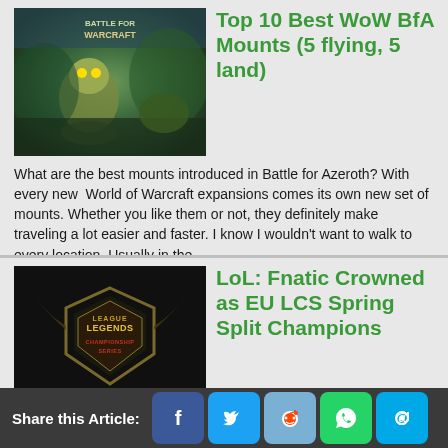[Figure (screenshot): World of Warcraft Battle for Azeroth game screenshot thumbnail]
Top 10 Best WoW BfA Mounts (5 flying, 5 land)
What are the best mounts introduced in Battle for Azeroth? With every new  World of Warcraft expansions comes its own new set of mounts. Whether you like them or not, they definitely make traveling a lot easier and faster. I know I wouldn't want to walk to every location. Usually in the...
1 comments
[Figure (screenshot): League of Legends Championship Series logo on dark background]
LoL: Fnatic Crowned as EU LCS Spring Split Champions
The Europe League of Legends Championship Series (EU LCS) Spring Split 2018 has come to a close and Fnatic is at the top of the food chain. It has been a long time coming for a team that has been trying to perfect their roster for the past couple of years. In 2017, Fnatic found themselves finishing...
Share this Article: [Facebook] [Twitter] [Reddit] [WhatsApp] [Email]